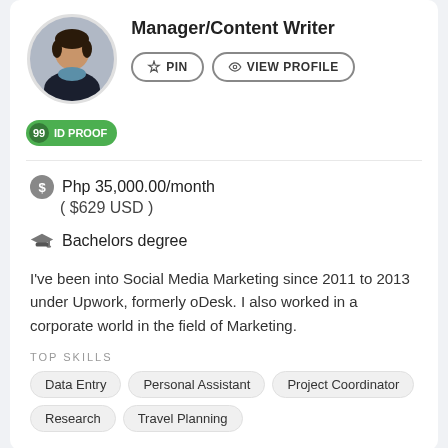[Figure (photo): Profile photo of a person in a dark jacket]
Manager/Content Writer
PIN  VIEW PROFILE
99 ID PROOF
Php 35,000.00/month ( $629 USD )
Bachelors degree
I've been into Social Media Marketing since 2011 to 2013 under Upwork, formerly oDesk. I also worked in a corporate world in the field of Marketing.
TOP SKILLS
Data Entry
Personal Assistant
Project Coordinator
Research
Travel Planning